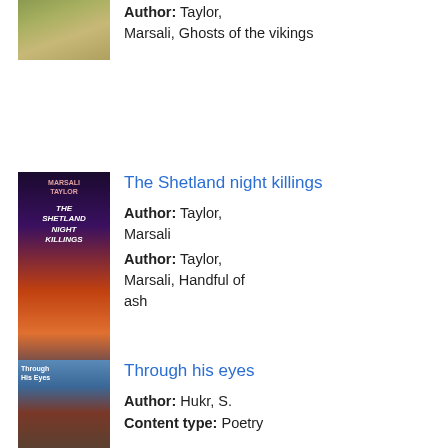[Figure (photo): Book cover image (partial, top of page) - landscape/nature scene]
Author: Taylor, Marsali, Ghosts of the vikings
[Figure (photo): Book cover for 'The Shetland Night Killings' by Marsali Taylor - dark sunset over water]
The Shetland night killings
Author: Taylor, Marsali
Author: Taylor, Marsali, Handful of ash
[Figure (photo): Book cover for 'Through His Eyes' - blue tones with figure]
Through his eyes
Author: Hukr, S.
Content type: Poetry